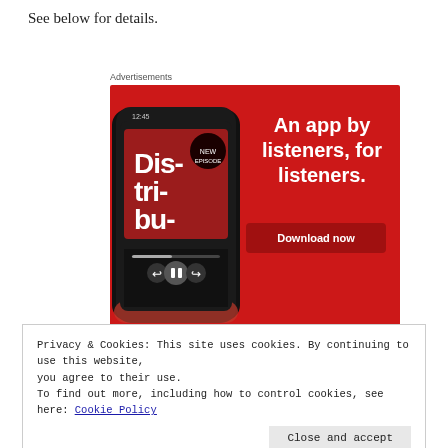See below for details.
Advertisements
[Figure (illustration): A red advertisement banner for a podcast app showing a smartphone with a podcast playing (titled 'Distributed'), with text 'An app by listeners, for listeners.' and a 'Download now' button.]
Privacy & Cookies: This site uses cookies. By continuing to use this website, you agree to their use.
To find out more, including how to control cookies, see here: Cookie Policy
Close and accept